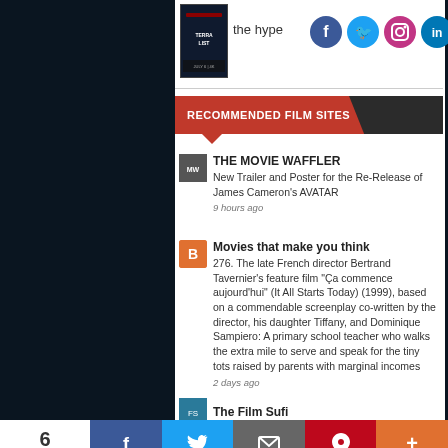[Figure (screenshot): Movie thumbnail (The Terrorist's List or similar film poster) in top left of content area]
the hype
[Figure (logo): Social media icons: Facebook, Twitter, Instagram, LinkedIn]
RECOMMENDED FILM SITES
THE MOVIE WAFFLER
New Trailer and Poster for the Re-Release of James Cameron's AVATAR
9 hours ago
Movies that make you think
276. The late French director Bertrand Tavernier's feature film "Ça commence aujourd'hui" (It All Starts Today) (1999), based on a commendable screenplay co-written by the director, his daughter Tiffany, and Dominique Sampiero: A primary school teacher who walks the extra mile to serve and speak for the tiny tots raised by parents with marginal incomes
2 days ago
The Film Sufi
6 SHARES